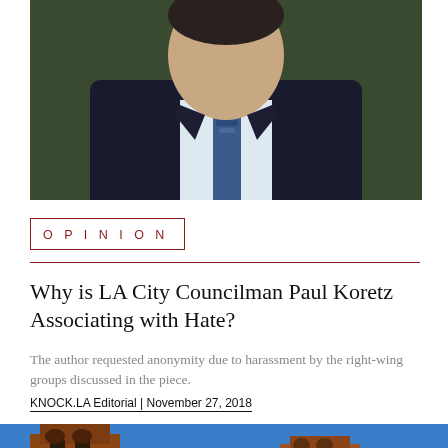[Figure (photo): Portrait photo of a man in a dark suit and blue tie against a blurred green background]
OPINION
Why is LA City Councilman Paul Koretz Associating with Hate?
The author requested anonymity due to harassment by the right-wing groups discussed in the piece.
KNOCK.LA Editorial | November 27, 2018
[Figure (photo): Photo of a brick bell tower on a university campus against a blue sky]